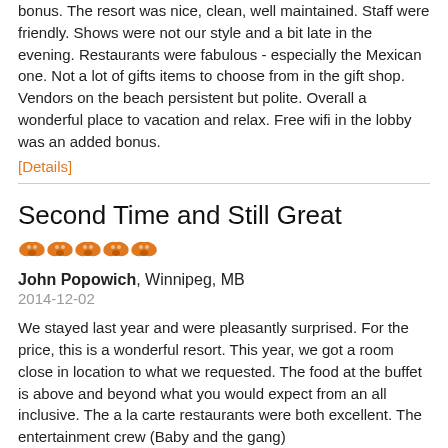bonus. The resort was nice, clean, well maintained. Staff were friendly. Shows were not our style and a bit late in the evening. Restaurants were fabulous - especially the Mexican one. Not a lot of gifts items to choose from in the gift shop. Vendors on the beach persistent but polite. Overall a wonderful place to vacation and relax. Free wifi in the lobby was an added bonus.
[Details]
Second Time and Still Great
[Figure (other): Five orange butterfly/owl rating icons indicating a 5-star rating]
John Popowich, Winnipeg, MB
2014-12-02
We stayed last year and were pleasantly surprised. For the price, this is a wonderful resort. This year, we got a room close in location to what we requested. The food at the buffet is above and beyond what you would expect from an all inclusive. The a la carte restaurants were both excellent. The entertainment crew (Baby and the gang)